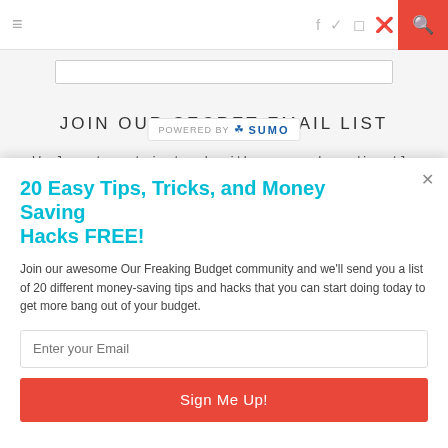≡  f  ✦  ◻  ⊕  ♥  )))  🔍
JOIN OUR SECRET EMAIL LIST
We love to get in touch with our readers directly via email. It's lik  POWERED BY SUMO  xcept we don't
20 Easy Tips, Tricks, and Money Saving Hacks FREE!
Join our awesome Our Freaking Budget community and we'll send you a list of 20 different money-saving tips and hacks that you can start doing today to get more bang out of your budget.
Enter your Email
Sign Me Up!